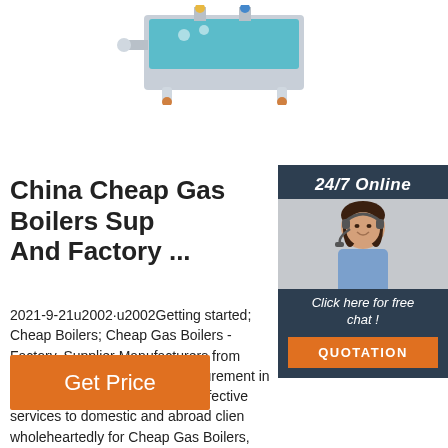[Figure (photo): Industrial gas boiler product photo on white background]
China Cheap Gas Boilers Sup And Factory ...
[Figure (photo): Customer service sidebar with 24/7 Online label, photo of woman with headset, Click here for free chat text, and orange QUOTATION button]
2021-9-21u2002·u2002Getting started; Cheap Boilers; Cheap Gas Boilers - Factory, Supplier Manufacturers from China. We aim to find out disfigurement in the generation and provide th effective services to domestic and abroad clien wholeheartedly for Cheap Gas Boilers, Boiler Mushroom Sterilization Boiler, 15 Ton Gas Boi Steam Generator.
Get Price